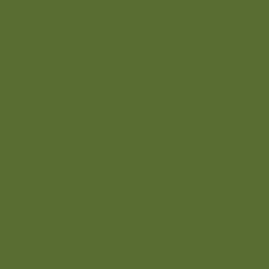| Last Name | First Name | Rank |
| --- | --- | --- |
|  |  | 1. |
| CARPENTER | Chas. | Priv |
| CASE | Lafayette W. | Priv |
| CHAMPNEY | Stafford | Mu |
| CHASE | Dominick | Priv |
|  | William |  |